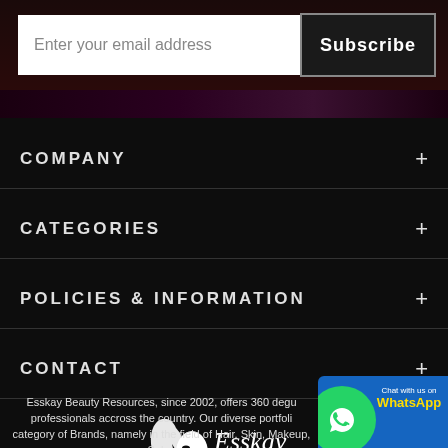Enter your email address
Subscribe
COMPANY
CATEGORIES
POLICIES & INFORMATION
CONTACT
[Figure (logo): Esskay Beauty Resources logo — stylized woman face silhouette with flowing hair, script logotype]
Esskay Beauty Resources, since 2002, offers 360 degree solutions to beauty professionals accross the country. Our diverse portfolio encompasses a wide category of Brands, namely in the field of Hair, Skin, Makeup, Salon